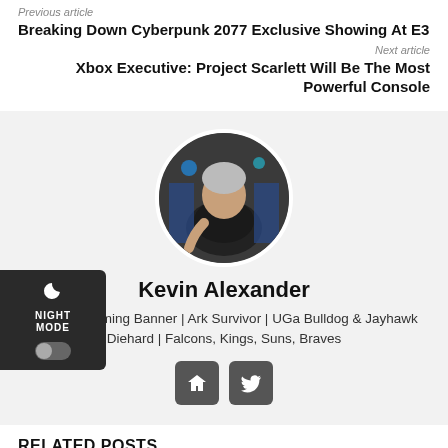Previous article
Breaking Down Cyberpunk 2077 Exclusive Showing At E3
Next article
Xbox Executive: Project Scarlett Will Be The Most Powerful Console
[Figure (photo): Circular profile photo of Kevin Alexander at a gaming event]
Kevin Alexander
Lords of Gaming Banner | Ark Survivor | UGa Bulldog & Jayhawk Diehard | Falcons, Kings, Suns, Braves
[Figure (infographic): Home icon button and Twitter icon button]
RELATED POSTS